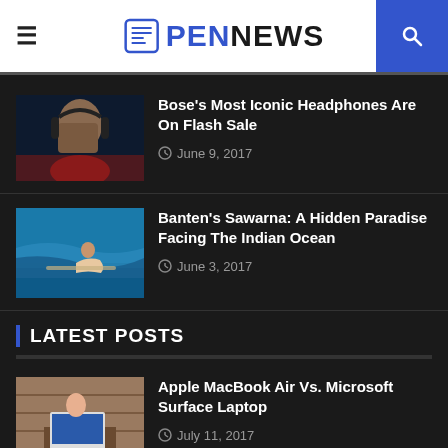PENNEWS
Bose's Most Iconic Headphones Are On Flash Sale — June 9, 2017
Banten's Sawarna: A Hidden Paradise Facing The Indian Ocean — June 3, 2017
LATEST POSTS
Apple MacBook Air Vs. Microsoft Surface Laptop — July 11, 2017
7 Products Help You Survive New Lifestyle In the U...